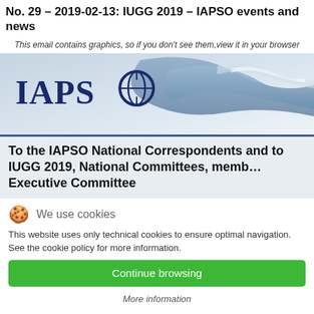No. 29 – 2019-02-13: IUGG 2019 – IAPSO events and news
This email contains graphics, so if you don't see them, view it in your browser
[Figure (logo): IAPSO logo with ocean wave graphic on blue gradient background]
To the IAPSO National Correspondents and to IUGG 2019, National Committees, members of the Executive Committee
We use cookies
This website uses only technical cookies to ensure optimal navigation. See the cookie policy for more information.
Continue browsing
More information